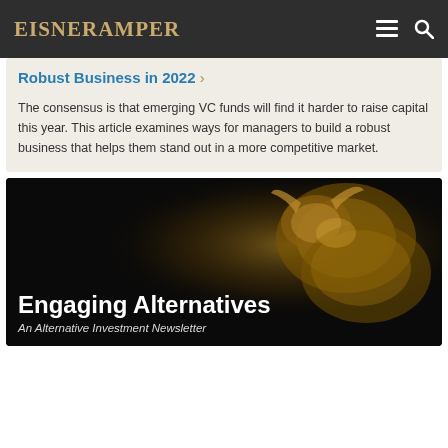EisnerAmper
Robust Business in 2022 ›
The consensus is that emerging VC funds will find it harder to raise capital this year. This article examines ways for managers to build a robust business that helps them stand out in a more competitive market.
[Figure (illustration): Dark background image of a golden bull statue with overlaid text 'Engaging Alternatives – An Alternative Investment Newsletter']
Engaging Alternatives
An Alternative Investment Newsletter